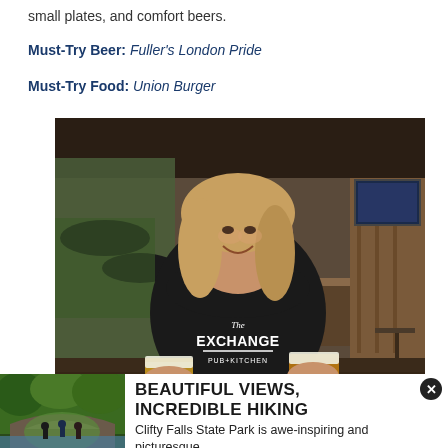small plates, and comfort beers.
Must-Try Beer: Fuller's London Pride
Must-Try Food: Union Burger
[Figure (photo): Woman smiling holding two pints of beer at The Exchange Pub & Kitchen, with a patio and bar visible in the background.]
[Figure (photo): People hiking under a stone bridge surrounded by lush green forest at Clifty Falls State Park.]
BEAUTIFUL VIEWS, INCREDIBLE HIKING
Clifty Falls State Park is awe-inspiring and picturesque.